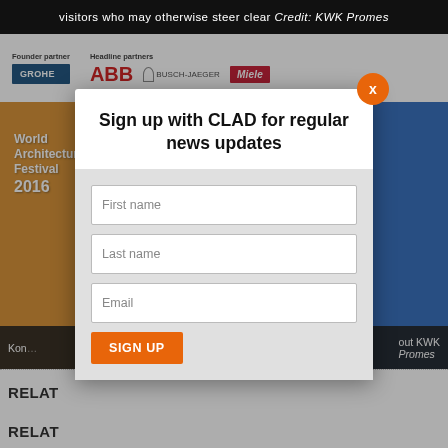visitors who may otherwise steer clear Credit: KWK Promes
[Figure (photo): World Architecture Festival 2016 event photo showing people at an awards ceremony, with sponsor logos (Grohe, ABB, Busch-Jaeger, Miele) visible at top. People celebrating, one person raising hand.]
Kon[...] out KWK Promes
[Figure (screenshot): Modal popup: Sign up with CLAD for regular news updates, with First name, Last name, Email fields and SIGN UP button]
RELAT[ED]